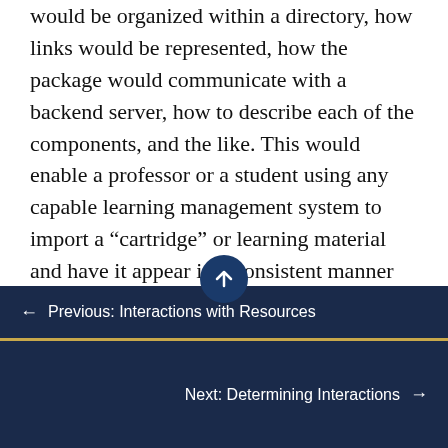would be organized within a directory, how links would be represented, how the package would communicate with a backend server, how to describe each of the components, and the like. This would enable a professor or a student using any capable learning management system to import a “cartridge” or learning material and have it appear in a consistent manner with all other learning materials within the LMS. This means that content providers need not maintain multiple versions of the same content just to conform to the formats of different systems, allowing them
← Previous: Interactions with Resources
Next: Determining Interactions →